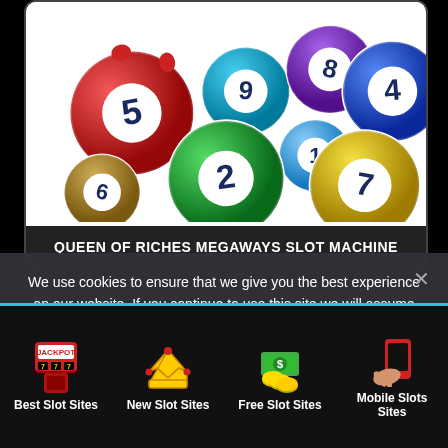[Figure (illustration): Colorful lottery/bingo balls numbered 1, 2, 4, 5, 6, 7, 8, 9 scattered on white background]
QUEEN OF RICHES MEGAWAYS SLOT MACHINE
We use cookies to ensure that we give you the best experience on our website. If you continue to use this site we will assume that you are happy with it.
Ok
[Figure (illustration): Jackpot 777 slot machine icon]
Best Slot Sites
[Figure (illustration): Golden crown icon]
New Slot Sites
[Figure (illustration): Money/cash with coins icon]
Free Slot Sites
[Figure (illustration): Hand holding red mobile phone icon]
Mobile Slots Sites